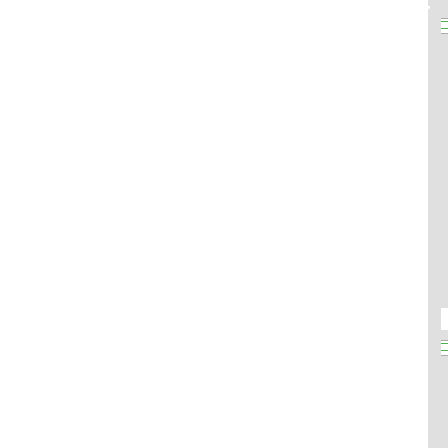[Figure (screenshot): Grid of file type image cards from a wiki/manual. Each card shows a broken image placeholder with alt text, a blue bold truncated filename link, and metadata lines (dimensions, date/time, file size). Row 1: ic_file_type_ov2.png card (64x64, 2015/04/02 15:39, 1.9 KB), ic_file_type_ov2_alt.png card (64x64, 2017/10/26 15:53, 920 B), partial third card. Row 2: ic_file_type_png_alt.png card (64x64, 2017/10/26 15:53, 874 B), ic_file_type_rar_alt.png card (64x64, 2017/10/26 15:53, 868 B), partial third card.]